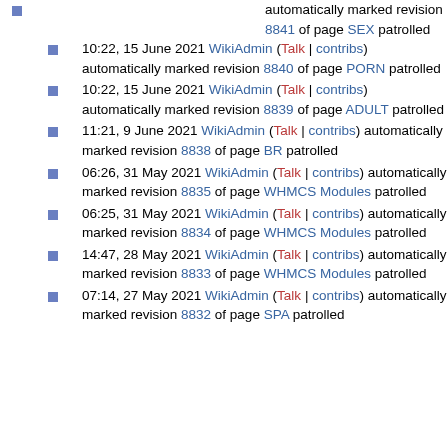automatically marked revision 8841 of page SEX patrolled
10:22, 15 June 2021 WikiAdmin (Talk | contribs) automatically marked revision 8840 of page PORN patrolled
10:22, 15 June 2021 WikiAdmin (Talk | contribs) automatically marked revision 8839 of page ADULT patrolled
11:21, 9 June 2021 WikiAdmin (Talk | contribs) automatically marked revision 8838 of page BR patrolled
06:26, 31 May 2021 WikiAdmin (Talk | contribs) automatically marked revision 8835 of page WHMCS Modules patrolled
06:25, 31 May 2021 WikiAdmin (Talk | contribs) automatically marked revision 8834 of page WHMCS Modules patrolled
14:47, 28 May 2021 WikiAdmin (Talk | contribs) automatically marked revision 8833 of page WHMCS Modules patrolled
07:14, 27 May 2021 WikiAdmin (Talk | contribs) automatically marked revision 8832 of page SPA patrolled